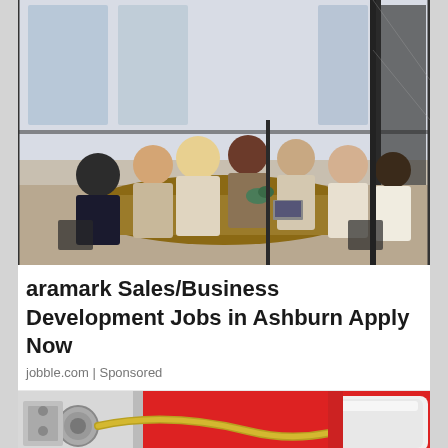[Figure (photo): Business meeting scene: several people seated around a conference table in a glass-walled office room, having a discussion. Industrial-style interior with large windows.]
aramark Sales/Business Development Jobs in Ashburn Apply Now
jobble.com | Sponsored
[Figure (photo): Partial view of a red truck or vehicle with industrial/mechanical equipment, red and white colors visible.]